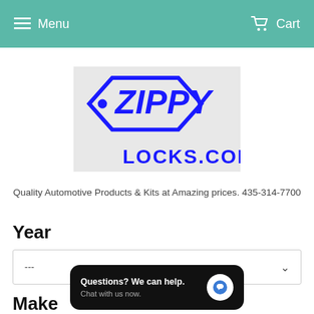Menu   Cart
[Figure (logo): Zippy Locks.com logo — blue stylized text with a price-tag/hexagon shape on a light gray background]
Quality Automotive Products & Kits at Amazing prices. 435-314-7700
Year
---
Make
Questions? We can help. Chat with us now.